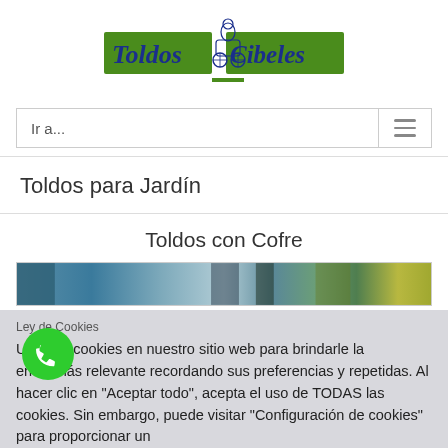[Figure (logo): Toldos Cibeles logo with green background, blue text and carriage illustration]
Ir a...
Toldos para Jardín
Toldos con Cofre
[Figure (photo): Partial photo strip showing outdoor awning/garden scene]
Ley de Cookies
Usamos cookies en nuestro sitio web para brindarle la encia más relevante recordando sus preferencias y repetidas. Al hacer clic en "Aceptar todo", acepta el uso de TODAS las cookies. Sin embargo, puede visitar "Configuración de cookies" para proporcionar un